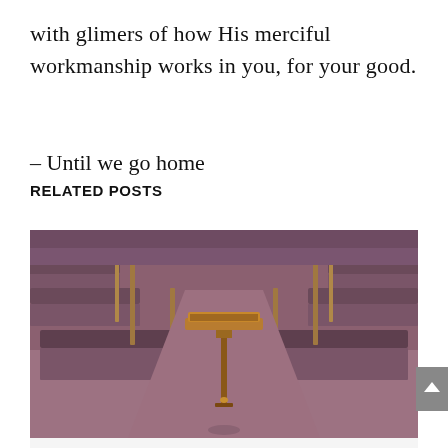with glimers of how His merciful workmanship works in you, for your good.
– Until we go home
RELATED POSTS
[Figure (photo): Interior of a church sanctuary showing rows of purple/mauve upholstered pews on both sides and a wooden pulpit/lectern stand in the center foreground on a mauve carpet.]